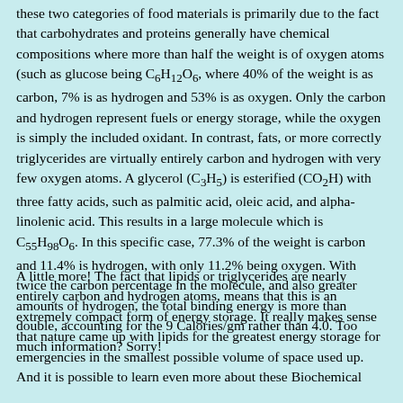these two categories of food materials is primarily due to the fact that carbohydrates and proteins generally have chemical compositions where more than half the weight is of oxygen atoms (such as glucose being C6H12O6, where 40% of the weight is as carbon, 7% is as hydrogen and 53% is as oxygen. Only the carbon and hydrogen represent fuels or energy storage, while the oxygen is simply the included oxidant. In contrast, fats, or more correctly triglycerides are virtually entirely carbon and hydrogen with very few oxygen atoms. A glycerol (C3H5) is esterified (CO2H) with three fatty acids, such as palmitic acid, oleic acid, and alpha-linolenic acid. This results in a large molecule which is C55H98O6. In this specific case, 77.3% of the weight is carbon and 11.4% is hydrogen, with only 11.2% being oxygen. With twice the carbon percentage in the molecule, and also greater amounts of hydrogen, the total binding energy is more than double, accounting for the 9 Calories/gm rather than 4.0. Too much information? Sorry!
A little more! The fact that lipids or triglycerides are nearly entirely carbon and hydrogen atoms, means that this is an extremely compact form of energy storage. It really makes sense that nature came up with lipids for the greatest energy storage for emergencies in the smallest possible volume of space used up. And it is possible to learn even more about these Biochemical issues if the context of your conditions is there, which to a window of...